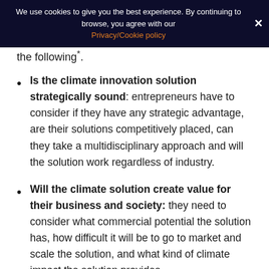We use cookies to give you the best experience. By continuing to browse, you agree with our Privacy/Cookie policy
the following*:
Is the climate innovation solution strategically sound: entrepreneurs have to consider if they have any strategic advantage, are their solutions competitively placed, can they take a multidisciplinary approach and will the solution work regardless of industry.
Will the climate solution create value for their business and society: they need to consider what commercial potential the solution has, how difficult it will be to go to market and scale the solution, and what kind of climate impact the solution provides.
Is the climate solution-resilient: entrepreneurs need to plan how changes in the macro-environment, such as a change in regulations, will